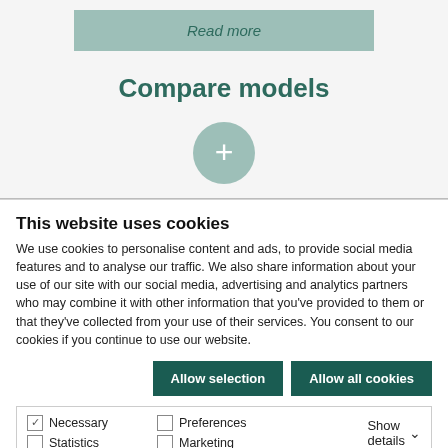[Figure (screenshot): A sage/teal colored 'Read more' button with italic text]
Compare models
[Figure (other): A circular sage/teal plus (+) button for adding items to compare]
This website uses cookies
We use cookies to personalise content and ads, to provide social media features and to analyse our traffic. We also share information about your use of our site with our social media, advertising and analytics partners who may combine it with other information that you've provided to them or that they've collected from your use of their services. You consent to our cookies if you continue to use our website.
[Figure (screenshot): Two dark teal buttons: 'Allow selection' and 'Allow all cookies']
[Figure (screenshot): Cookie options row with checkboxes: Necessary (checked), Preferences, Statistics, Marketing, and Show details dropdown]